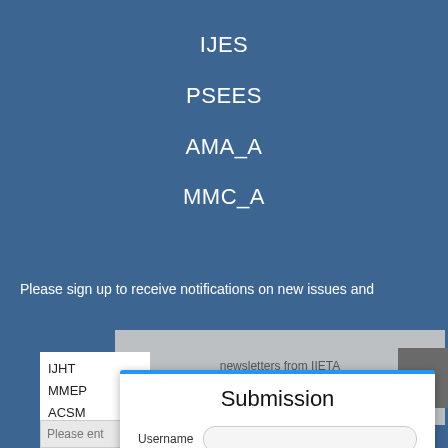IJES
PSEES
AMA_A
MMC_A
Please sign up to receive notifications on new issues and
newsletters from IIETA
Select Journal/Journals:
IJHT
MMEP
ACSM
EJEE
ISI
Please ent
Submission
Username
Password